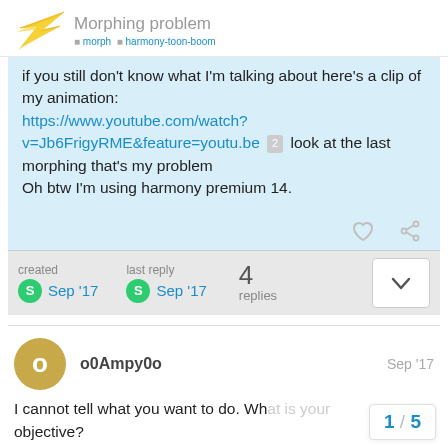Morphing problem
if you still don't know what I'm talking about here's a clip of my animation: https://www.youtube.com/watch?v=Jb6FrigyRME&feature=youtu.be 2 look at the last morphing that's my problem
Oh btw I'm using harmony premium 14.
created Sep '17  last reply Sep '17  4 replies
o0Ampy0o  Sep '17
I cannot tell what you want to do. Wh... objective?
1 / 5